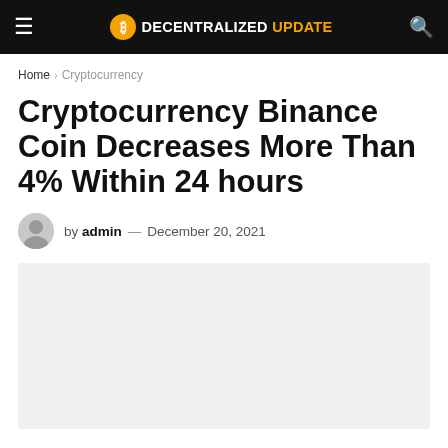DECENTRALIZED UPDATE
Home > Cryptocurrency
Cryptocurrency Binance Coin Decreases More Than 4% Within 24 hours
by admin — December 20, 2021
[Figure (photo): Featured article image placeholder (light gray rectangle)]